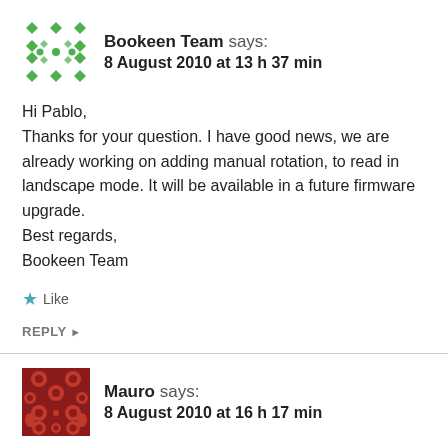[Figure (illustration): Green diamond pattern avatar for Bookeen Team]
Bookeen Team says:
8 August 2010 at 13 h 37 min
Hi Pablo,
Thanks for your question. I have good news, we are already working on adding manual rotation, to read in landscape mode. It will be available in a future firmware upgrade.
Best regards,
Bookeen Team
Like
REPLY ▸
[Figure (illustration): Dark red floral pattern avatar for Mauro]
Mauro says:
8 August 2010 at 16 h 17 min